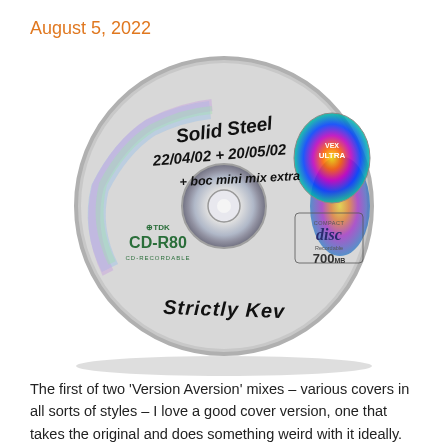August 5, 2022
[Figure (photo): A TDK CD-R80 CD-Recordable disc (700MB) with handwritten black marker text reading: 'Solid Steel 22/04/02 + 20/05/02 + Boc mini mix extra' and 'Strictly Kev' written at the bottom. The disc shows the characteristic iridescent rainbow sheen of a recordable CD.]
The first of two 'Version Aversion' mixes – various covers in all sorts of styles – I love a good cover version, one that takes the original and does something weird with it ideally. The